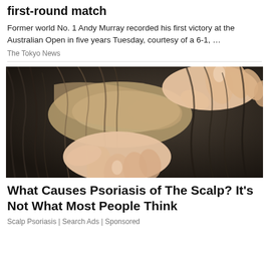first-round match
Former world No. 1 Andy Murray recorded his first victory at the Australian Open in five years Tuesday, courtesy of a 6-1, …
The Tokyo News
[Figure (photo): Close-up photo of two hands parting dark hair on a scalp, examining the scalp closely.]
What Causes Psoriasis of The Scalp? It's Not What Most People Think
Scalp Psoriasis | Search Ads | Sponsored